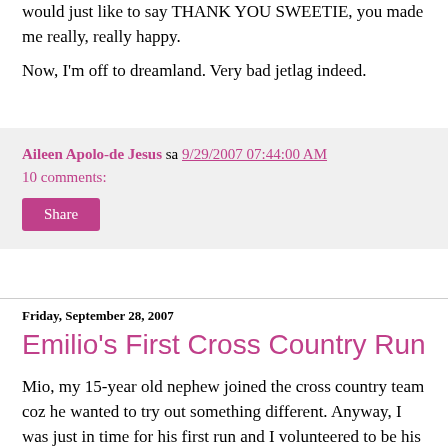would just like to say THANK YOU SWEETIE, you made me really, really happy.
Now, I'm off to dreamland. Very bad jetlag indeed.
Aileen Apolo-de Jesus sa 9/29/2007 07:44:00 AM
10 comments:
Share
Friday, September 28, 2007
Emilio's First Cross Country Run
Mio, my 15-year old nephew joined the cross country team coz he wanted to try out something different. Anyway, I was just in time for his first run and I volunteered to be his paparazzi for the day (much to his embarrassment I think – his mom AND aunt watching him and we even arrived really early so we just hung-out with parents who arrived later).
My sister didn't have any idea either on what goes on in the